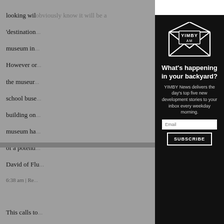looking will obviously know it will be a 'destination' museum in... However on... the museum... school buse... building on... museum ha... of a potenti...
David of Flu... 6:38 am | Re... This calls to... Barcelona t... "the quarry."
[Figure (infographic): YIMBY AM newsletter modal popup with dark background, envelope logo with 'YIMBY AM' text, headline 'What's happening in your backyard?', subtext about YIMBY News delivering top five new development stories, email input field, and SUBSCRIBE button. Close button (X) in top right corner.]